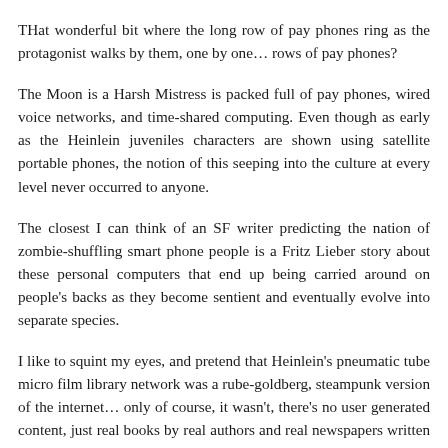THat wonderful bit where the long row of pay phones ring as the protagonist walks by them, one by one… rows of pay phones?
The Moon is a Harsh Mistress is packed full of pay phones, wired voice networks, and time-shared computing. Even though as early as the Heinlein juveniles characters are shown using satellite portable phones, the notion of this seeping into the culture at every level never occurred to anyone.
The closest I can think of an SF writer predicting the nation of zombie-shuffling smart phone people is a Fritz Lieber story about these personal computers that end up being carried around on people's backs as they become sentient and eventually evolve into separate species.
I like to squint my eyes, and pretend that Heinlein's pneumatic tube micro film library network was a rube-goldberg, steampunk version of the internet… only of course, it wasn't, there's no user generated content, just real books by real authors and real newspapers written by